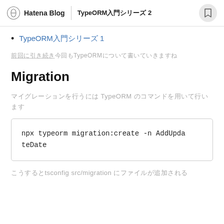Hatena Blog | TypeORM入門シリーズ 2
TypeORM入門シリーズ 1
前回に引き続き今回もTypeORMについて書いていきますね
Migration
マイグレーションを行うには TypeORM のコマンドを用いて行います
npx typeorm migration:create -n AddUpdateDate
こうするとtsconfig src/migration にファイルが追加される